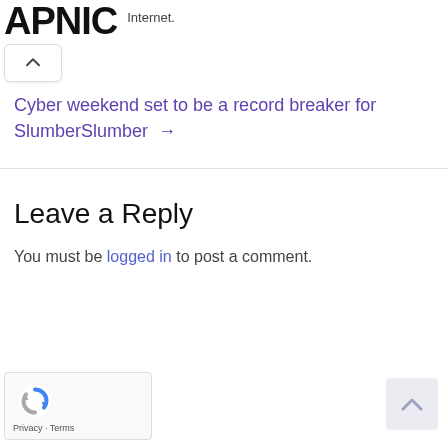APNIC - Internet.
Cyber weekend set to be a record breaker for SlumberSlumber →
Leave a Reply
You must be logged in to post a comment.
[Figure (logo): reCAPTCHA widget with recaptcha logo icon and Privacy - Terms footer text]